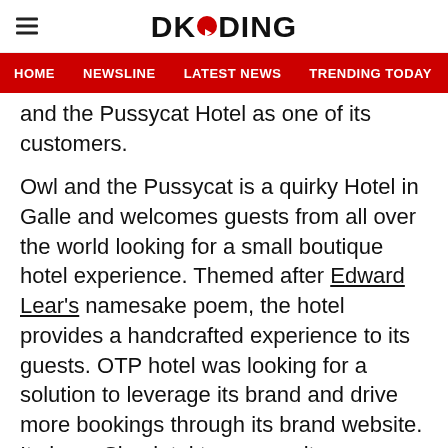DKODING
HOME  NEWSLINE  LATEST NEWS  TRENDING TODAY  ENT
and the Pussycat Hotel as one of its customers.
Owl and the Pussycat is a quirky Hotel in Galle and welcomes guests from all over the world looking for a small boutique hotel experience. Themed after Edward Lear’s namesake poem, the hotel provides a handcrafted experience to its guests. OTP hotel was looking for a solution to leverage its brand and drive more bookings through its brand website. It chose Simplotel to revamp its e-commerce and has seen increased convenience in managing their site, improved